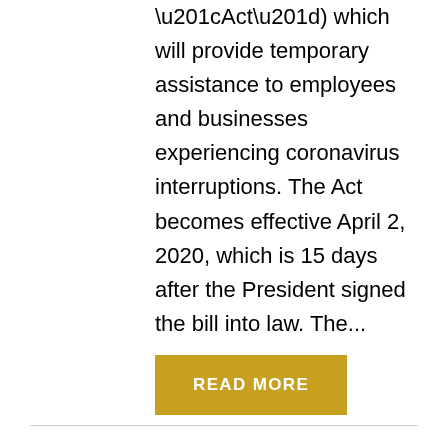“Act”) which will provide temporary assistance to employees and businesses experiencing coronavirus interruptions. The Act becomes effective April 2, 2020, which is 15 days after the President signed the bill into law. The...
READ MORE